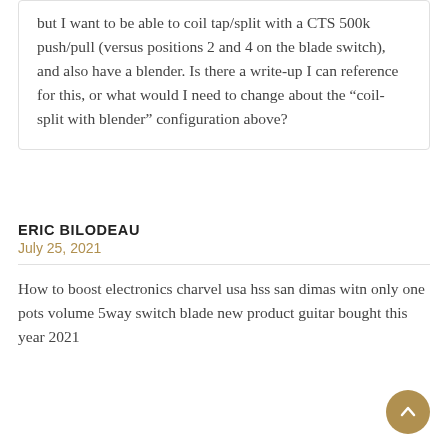but I want to be able to coil tap/split with a CTS 500k push/pull (versus positions 2 and 4 on the blade switch), and also have a blender. Is there a write-up I can reference for this, or what would I need to change about the “coil-split with blender” configuration above?
ERIC BILODEAU
July 25, 2021
How to boost electronics charvel usa hss san dimas witn only one pots volume 5way switch blade new product guitar bought this year 2021